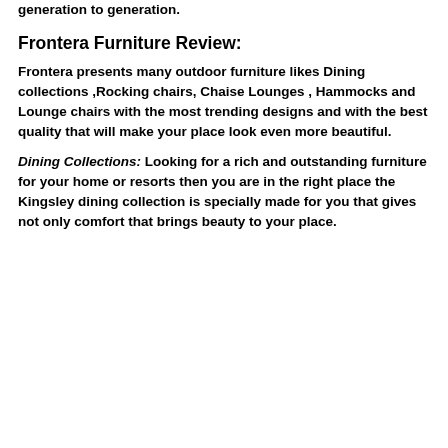generation to generation.
Frontera Furniture Review:
Frontera presents many outdoor furniture likes Dining collections ,Rocking chairs, Chaise Lounges , Hammocks and Lounge chairs with the most trending designs and with the best quality that will make your place look even more beautiful.
Dining Collections:  Looking for a rich and outstanding furniture for your home or resorts then you are in the right place the Kingsley dining collection is specially made for you that gives not only comfort that brings beauty to your place.